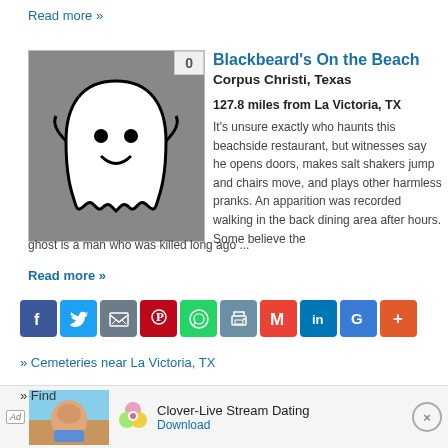Read more »
[Figure (illustration): Ghost cartoon illustration on gray background with vote badge showing 0]
Blackbeard's On the Beach
Corpus Christi, Texas
127.8 miles from La Victoria, TX
It's unsure exactly who haunts this beachside restaurant, but witnesses say he opens doors, makes salt shakers jump and chairs move, and plays other harmless pranks. An apparition was recorded walking in the back dining area after hours. Some believe the ghost is a man who was killed long ago ...
Read more »
[Figure (infographic): Social sharing icons: Facebook, Twitter, Email, Pinterest, WhatsApp, Print, Gmail, LinkedIn, Google+, More]
» Cemeteries near La Victoria, TX
» Find
[Figure (photo): Advertisement: Clover-Live Stream Dating app ad with photo of woman at beach]